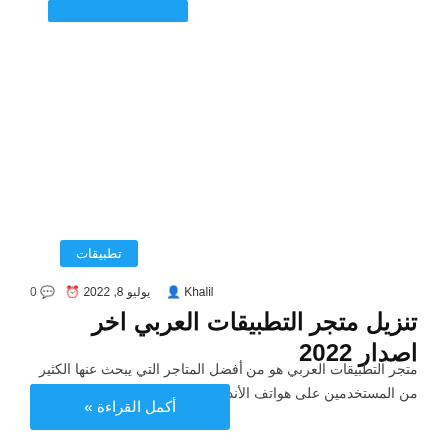تطبيقات
Khalil  يوليو 8, 2022  0
تنزيل متجر التطبيقات العربي اخر اصدار 2022
متجر التطبيقات العربي هو من أفضل المتاجر التي يبحث عنها الكثير من المستخدمين على هواتف الأندرويد، كما يطلق على متجر...
أكمل القراءة »